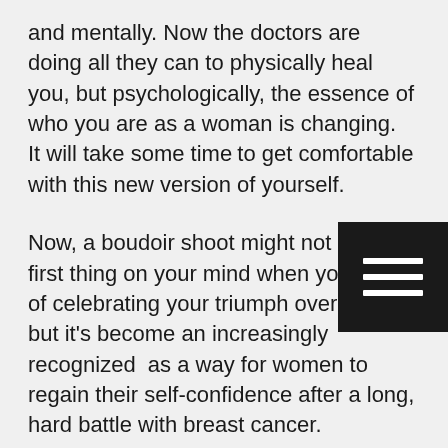and mentally. Now the doctors are doing all they can to physically heal you, but psychologically, the essence of who you are as a woman is changing.  It will take some time to get comfortable with this new version of yourself.
Now, a boudoir shoot might not be the first thing on your mind when you think of celebrating your triumph over cancer, but it's become an increasingly recognized  as a way for women to regain their self-confidence after a long, hard battle with breast cancer.
How do women's empowerment and boudoir